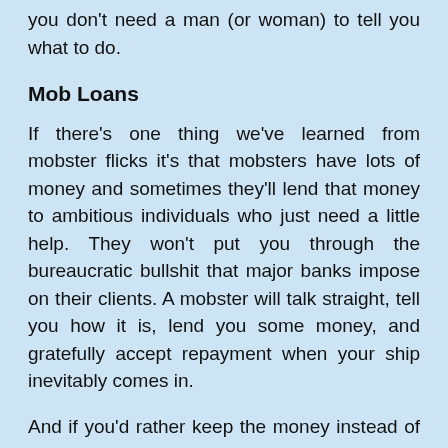you don't need a man (or woman) to tell you what to do.
Mob Loans
If there's one thing we've learned from mobster flicks it's that mobsters have lots of money and sometimes they'll lend that money to ambitious individuals who just need a little help. They won't put you through the bureaucratic bullshit that major banks impose on their clients. A mobster will talk straight, tell you how it is, lend you some money, and gratefully accept repayment when your ship inevitably comes in.
And if you'd rather keep the money instead of paying it back, just keep it. What are they going to do? Call the cops? They don't want to draw legal